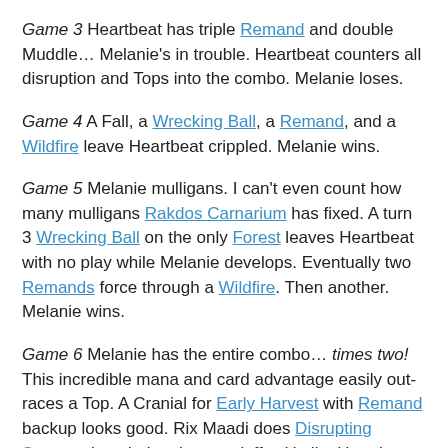Game 3 Heartbeat has triple Remand and double Muddle… Melanie's in trouble. Heartbeat counters all disruption and Tops into the combo. Melanie loses.
Game 4 A Fall, a Wrecking Ball, a Remand, and a Wildfire leave Heartbeat crippled. Melanie wins.
Game 5 Melanie mulligans. I can't even count how many mulligans Rakdos Carnarium has fixed. A turn 3 Wrecking Ball on the only Forest leaves Heartbeat with no play while Melanie develops. Eventually two Remands force through a Wildfire. Then another. Melanie wins.
Game 6 Melanie has the entire combo… times two! This incredible mana and card advantage easily out-races a Top. A Cranial for Early Harvest with Remand backup looks good. Rix Maadi does Disrupting Scepter duty during the standoff… Until a Heartbeat hits, followed by a nine card Stroke puts Heartbeat back in it. Melanie Wrecks